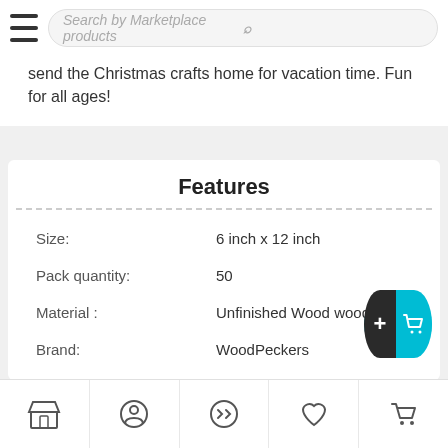Search by Marketplace products
send the Christmas crafts home for vacation time. Fun for all ages!
Features
| Property | Value |
| --- | --- |
| Size: | 6 inch x 12 inch |
| Pack quantity: | 50 |
| Material : | Unfinished Wood wood |
| Brand: | WoodPeckers |
Navigation bar with store, profile, shuffle, wishlist, cart icons